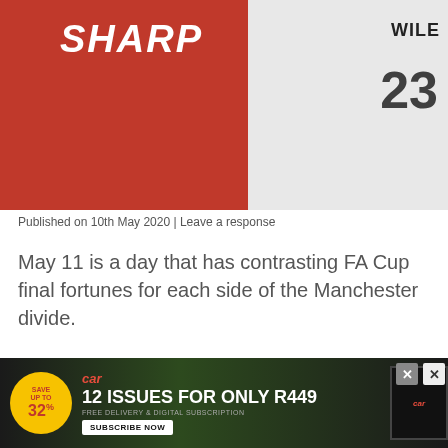[Figure (photo): Football players in action — one in a red Manchester United SHARP jersey, another in a white jersey with number 23]
Published on 10th May 2020 | Leave a response
May 11 is a day that has contrasting FA Cup final fortunes for each side of the Manchester divide.
[Figure (other): Advertisement banner: Car magazine — 12 Issues for only R449, save up to 32%, free delivery & digital subscription, subscribe now]